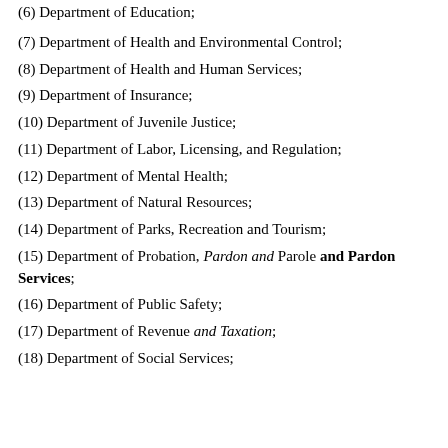(6) Department of Education;
(7) Department of Health and Environmental Control;
(8) Department of Health and Human Services;
(9) Department of Insurance;
(10) Department of Juvenile Justice;
(11) Department of Labor, Licensing, and Regulation;
(12) Department of Mental Health;
(13) Department of Natural Resources;
(14) Department of Parks, Recreation and Tourism;
(15) Department of Probation, Pardon and Parole and Pardon Services;
(16) Department of Public Safety;
(17) Department of Revenue and Taxation;
(18) Department of Social Services;